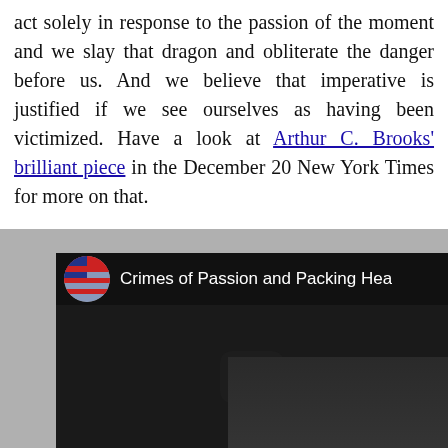act solely in response to the passion of the moment and we slay that dragon and obliterate the danger before us. And we believe that imperative is justified if we see ourselves as having been victimized. Have a look at Arthur C. Brooks' brilliant piece in the December 20 New York Times for more on that.
[Figure (screenshot): Embedded video thumbnail titled 'Crimes of Passion and Packing Hea...' showing a bald man in a suit with a play button overlay and a circular flag avatar icon in the header.]